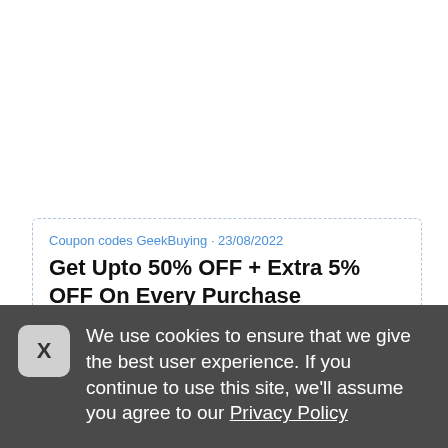Coupon codes GeekBuying · 23/08/2022
Get Upto 50% OFF + Extra 5% OFF On Every Purchase
GeekBuying Coupon Codes and Offers
We use cookies to ensure that we give the best user experience. If you continue to use this site, we'll assume you agree to our Privacy Policy